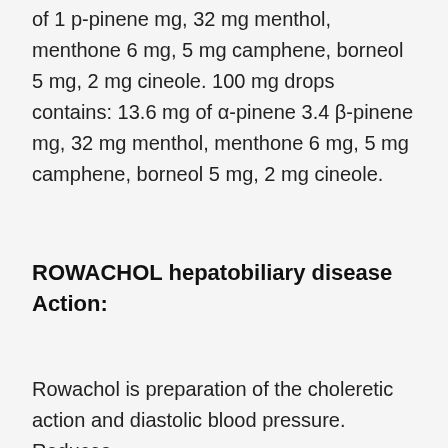of 1 p-pinene mg, 32 mg menthol, menthone 6 mg, 5 mg camphene, borneol 5 mg, 2 mg cineole. 100 mg drops contains: 13.6 mg of α-pinene 3.4 β-pinene mg, 32 mg menthol, menthone 6 mg, 5 mg camphene, borneol 5 mg, 2 mg cineole.
ROWACHOL hepatobiliary disease Action:
Rowachol is preparation of the choleretic action and diastolic blood pressure. Reduces